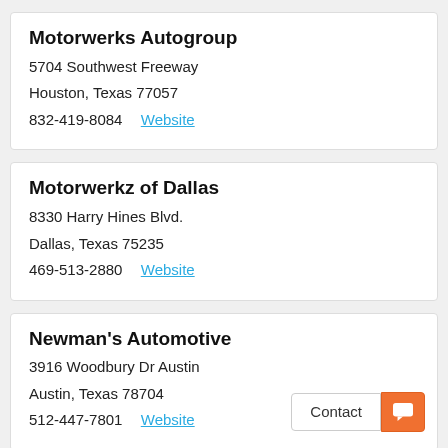Motorwerks Autogroup
5704 Southwest Freeway
Houston, Texas 77057
832-419-8084  Website
Motorwerkz of Dallas
8330 Harry Hines Blvd.
Dallas, Texas 75235
469-513-2880  Website
Newman's Automotive
3916 Woodbury Dr Austin
Austin, Texas 78704
512-447-7801  Website